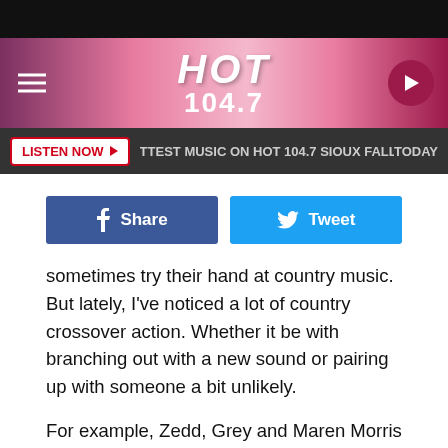[Figure (screenshot): HOT 104.7 radio station website screenshot header with pink gradient background, hamburger menu icon on left, HOT 104.7 logo in center, play button on right]
[Figure (screenshot): Navigation bar with dark background showing LISTEN NOW button, text 'TTEST MUSIC ON HOT 104.7 SIOUX FALLS', and TODAY label]
[Figure (screenshot): Social sharing buttons row: Facebook Share button (dark blue) and Tweet button (light blue)]
sometimes try their hand at country music. But lately, I've noticed a lot of country crossover action. Whether it be with branching out with a new sound or pairing up with someone a bit unlikely.
For example, Zedd, Grey and Maren Morris have a huge hit right now with "Middle." Zedd and Grey have had a few hits in the EDM and pop world and Maren made some big waves in country music with "My Church." They may seem like they